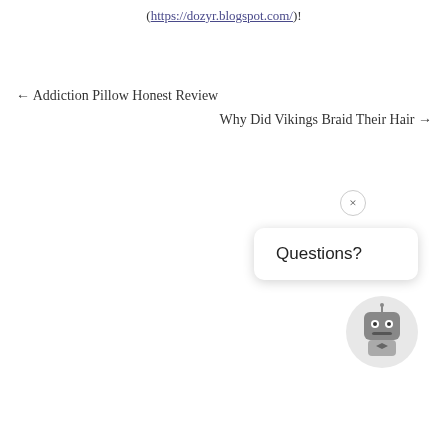(https://dozyr.blogspot.com/)!
← Addiction Pillow Honest Review
Why Did Vikings Braid Their Hair →
[Figure (other): Chat widget with close button (×), a speech bubble saying 'Questions?', and a robot avatar icon at the bottom right of the page.]